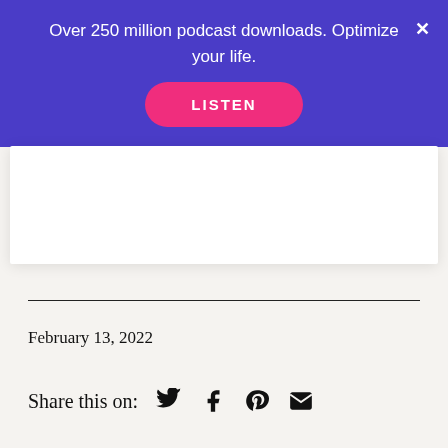Over 250 million podcast downloads. Optimize your life.
[Figure (other): LISTEN button (pink/magenta rounded pill button) within purple banner]
[Figure (other): White card/content area below banner]
February 13, 2022
Share this on: